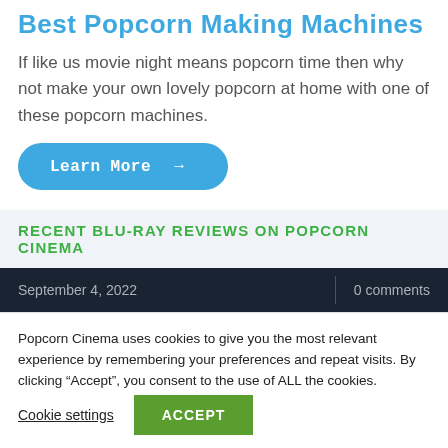Best Popcorn Making Machines
If like us movie night means popcorn time then why not make your own lovely popcorn at home with one of these popcorn machines.
[Figure (other): Blue rounded button with text 'Learn More' and arrow icon]
RECENT BLU-RAY REVIEWS ON POPCORN CINEMA
September 4, 2022
0  comments
Popcorn Cinema uses cookies to give you the most relevant experience by remembering your preferences and repeat visits. By clicking “Accept”, you consent to the use of ALL the cookies.
Cookie settings
ACCEPT